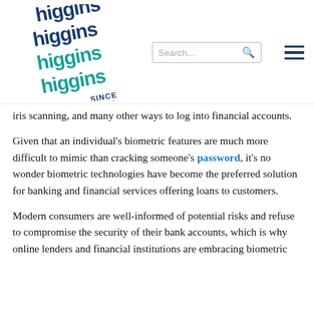[Figure (logo): Higgins Higgins Higgins Since 1960 logo — stacked text in dark blue and teal, tilted slightly, wordmark style]
iris scanning, and many other ways to log into financial accounts.
Given that an individual's biometric features are much more difficult to mimic than cracking someone's password, it's no wonder biometric technologies have become the preferred solution for banking and financial services offering loans to customers.
Modern consumers are well-informed of potential risks and refuse to compromise the security of their bank accounts, which is why online lenders and financial institutions are embracing biometric